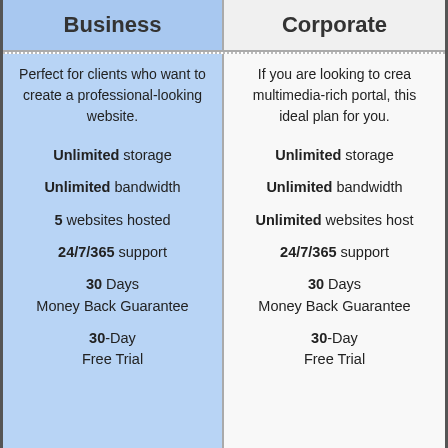Business
Corporate
Perfect for clients who want to create a professional-looking website.
If you are looking to create a multimedia-rich portal, this ideal plan for you.
Unlimited storage
Unlimited storage
Unlimited bandwidth
Unlimited bandwidth
5 websites hosted
Unlimited websites hosted
24/7/365 support
24/7/365 support
30 Days Money Back Guarantee
30 Days Money Back Guarantee
30-Day Free Trial
30-Day Free Trial